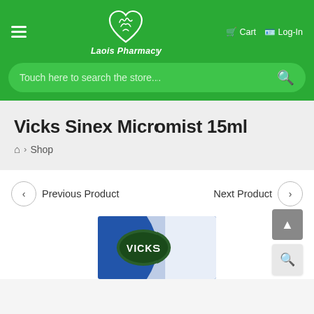[Figure (logo): Laois Pharmacy logo — white heart outline with decorative flourish inside, on green background, with 'Laois Pharmacy' text below in white italic]
Cart   Log-In
Touch here to search the store...
Vicks Sinex Micromist 15ml
🏠 > Shop
< Previous Product
Next Product >
[Figure (photo): Vicks product packaging showing green oval Vicks logo on blue and white background]